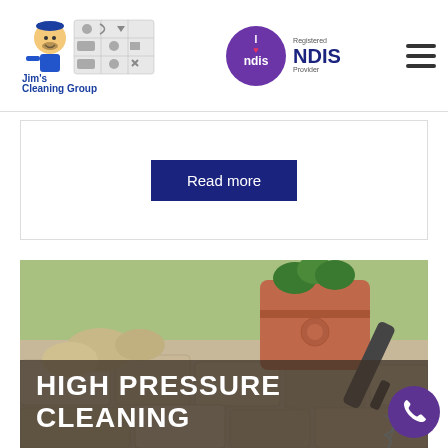Jim's Cleaning Group | Registered NDIS Provider
Read more
[Figure (photo): High pressure cleaning of stone pavers with a pressure washer nozzle, terracotta pot and green plants in background. Overlay text reads HIGH PRESSURE CLEANING.]
HIGH PRESSURE CLEANING